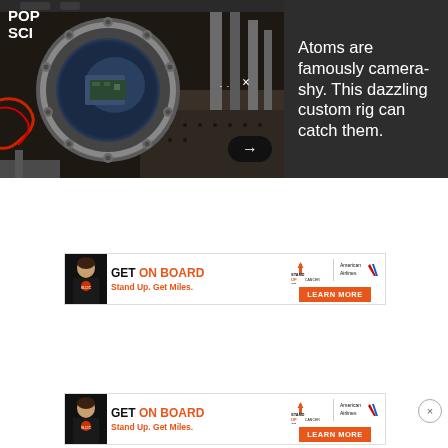[Figure (photo): Laboratory equipment photo showing a circular vacuum chamber viewport/flange with bolts around the rim, connected to various scientific instruments and metal tubing, with a blue-tinted interior visible through the porthole window. A POP SCI logo overlay is in the top-left corner.]
Atoms are famously camera-shy. This dazzling custom rig can catch them.
[Figure (infographic): Advertisement banner: GET ON BOARD - Stand Up. Get Miles. - Stand Up To Cancer / American Airlines - LEARN MORE button]
[Figure (infographic): Advertisement banner (repeated): GET ON BOARD - Stand Up. Get Miles. - Stand Up To Cancer / American Airlines - LEARN MORE button]